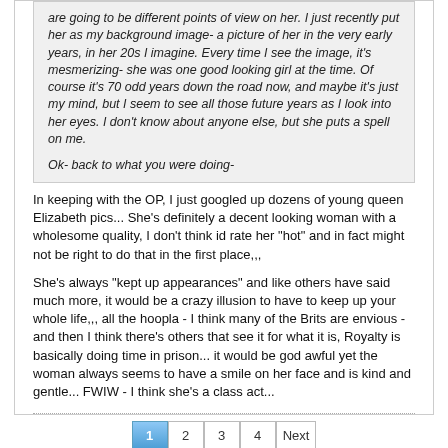are going to be different points of view on her. I just recently put her as my background image- a picture of her in the very early years, in her 20s I imagine. Every time I see the image, it's mesmerizing- she was one good looking girl at the time. Of course it's 70 odd years down the road now, and maybe it's just my mind, but I seem to see all those future years as I look into her eyes. I don't know about anyone else, but she puts a spell on me.
Ok- back to what you were doing-
In keeping with the OP, I just googled up dozens of young queen Elizabeth pics... She's definitely a decent looking woman with a wholesome quality, I don't think id rate her "hot" and in fact might not be right to do that in the first place,,,
She's always "kept up appearances" and like others have said much more, it would be a crazy illusion to have to keep up your whole life,,, all the hoopla - I think many of the Brits are envious - and then I think there's others that see it for what it is, Royalty is basically doing time in prison... it would be god awful yet the woman always seems to have a smile on her face and is kind and gentle... FWIW - I think she's a class act...
1 2 3 4 Next